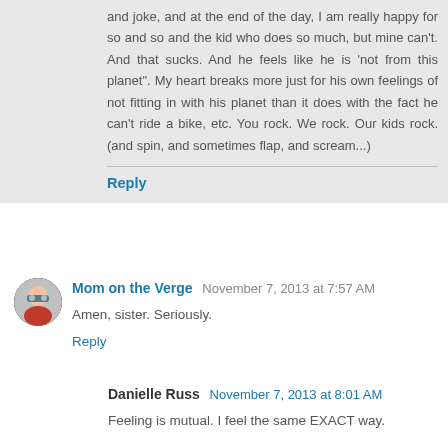and joke, and at the end of the day, I am really happy for so and so and the kid who does so much, but mine can't. And that sucks. And he feels like he is 'not from this planet". My heart breaks more just for his own feelings of not fitting in with his planet than it does with the fact he can't ride a bike, etc. You rock. We rock. Our kids rock. (and spin, and sometimes flap, and scream...)
Reply
Mom on the Verge  November 7, 2013 at 7:57 AM
Amen, sister. Seriously.
Reply
Danielle Russ  November 7, 2013 at 8:01 AM
Feeling is mutual. I feel the same EXACT way.